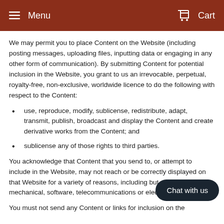Menu   Cart
We may permit you to place Content on the Website (including posting messages, uploading files, inputting data or engaging in any other form of communication). By submitting Content for potential inclusion in the Website, you grant to us an irrevocable, perpetual, royalty-free, non-exclusive, worldwide licence to do the following with respect to the Content:
use, reproduce, modify, sublicense, redistribute, adapt, transmit, publish, broadcast and display the Content and create derivative works from the Content; and
sublicense any of those rights to third parties.
You acknowledge that Content that you send to, or attempt to include in the Website, may not reach or be correctly displayed on that Website for a variety of reasons, including but not limited to mechanical, software, telecommunications or electronic failure.
You must not send any Content or links for inclusion on the